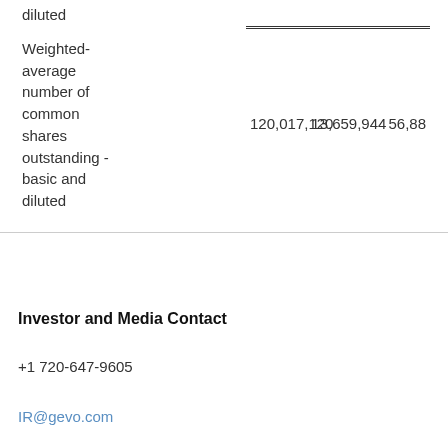|  |  |  |  |
| --- | --- | --- | --- |
| diluted |  |  |  |
| Weighted-average number of common shares outstanding - basic and diluted | 120,017,120 | 13,659,944 | 56,88 |
Investor and Media Contact
+1 720-647-9605
IR@gevo.com